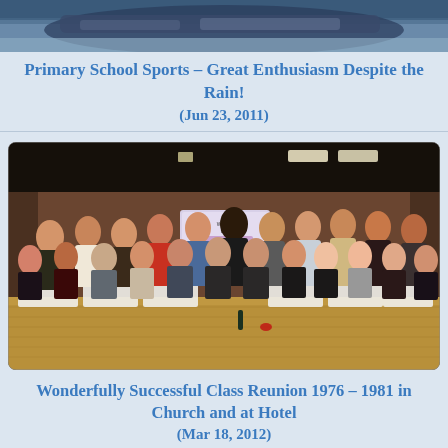[Figure (photo): Partial view of a car, top portion cropped, blue/dark color]
Primary School Sports – Great Enthusiasm Despite the Rain!
(Jun 23, 2011)
[Figure (photo): Group photo of approximately 25-30 adults at a class reunion, seated and standing in rows inside a function room with wooden floor and brown wall, banner in background reading 'Welcome to the Reunion'. Formally and semi-formally dressed.]
Wonderfully Successful Class Reunion 1976 – 1981 in Church and at Hotel
(Mar 18, 2012)